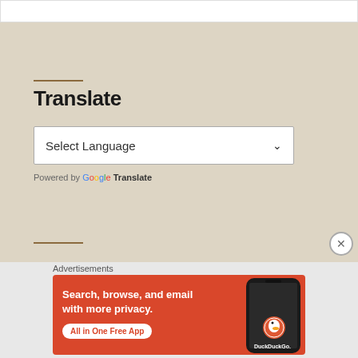Translate
Select Language
Powered by Google Translate
Advertisements
[Figure (screenshot): DuckDuckGo advertisement banner with orange background showing 'Search, browse, and email with more privacy. All in One Free App' with a phone mockup and DuckDuckGo duck logo]